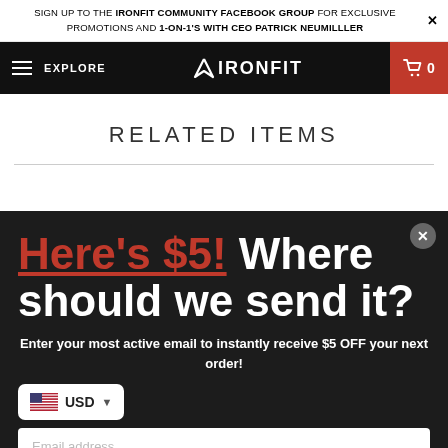SIGN UP TO THE IRONFIT COMMUNITY FACEBOOK GROUP FOR EXCLUSIVE PROMOTIONS AND 1-ON-1'S WITH CEO PATRICK NEUMILLLER
EXPLORE   IRONFIT   0
RELATED ITEMS
Here's $5! Where should we send it?
Enter your most active email to instantly receive $5 OFF your next order!
USD
Email address